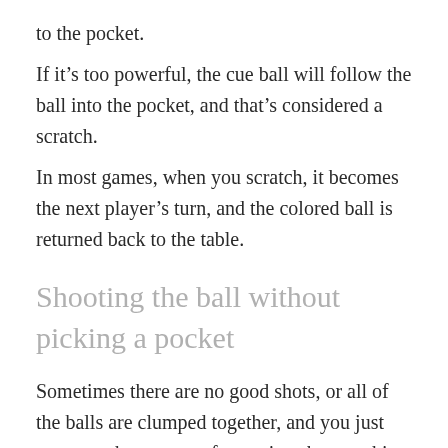to the pocket.
If it’s too powerful, the cue ball will follow the ball into the pocket, and that’s considered a scratch.
In most games, when you scratch, it becomes the next player’s turn, and the colored ball is returned back to the table.
Shooting the ball without picking a pocket
Sometimes there are no good shots, or all of the balls are clumped together, and you just want to take out your frustrations by smashing one ball